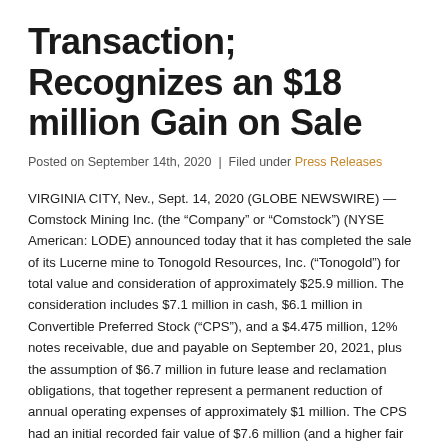Transaction; Recognizes an $18 million Gain on Sale
Posted on September 14th, 2020 | Filed under Press Releases
VIRGINIA CITY, Nev., Sept. 14, 2020 (GLOBE NEWSWIRE) — Comstock Mining Inc. (the “Company” or “Comstock”) (NYSE American: LODE) announced today that it has completed the sale of its Lucerne mine to Tonogold Resources, Inc. (“Tonogold”) for total value and consideration of approximately $25.9 million. The consideration includes $7.1 million in cash, $6.1 million in Convertible Preferred Stock (“CPS”), and a $4.475 million, 12% notes receivable, due and payable on September 20, 2021, plus the assumption of $6.7 million in future lease and reclamation obligations, that together represent a permanent reduction of annual operating expenses of approximately $1 million. The CPS had an initial recorded fair value of $7.6 million (and a higher fair value of $10.1 million at June 30, 2020). Comstock estimates that 1.5%...